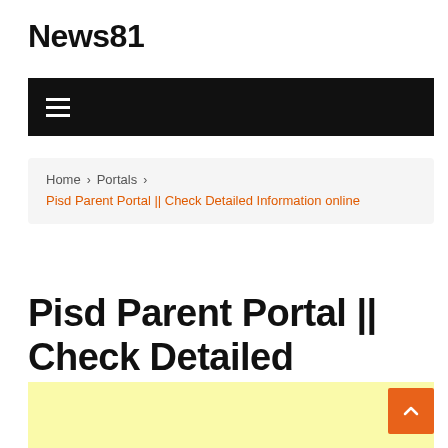News81
[Figure (other): Black navigation bar with hamburger menu icon (three horizontal white lines)]
Home > Portals > Pisd Parent Portal || Check Detailed Information online
Pisd Parent Portal || Check Detailed Information online
[Figure (other): Light yellow/cream colored advertisement or content placeholder box]